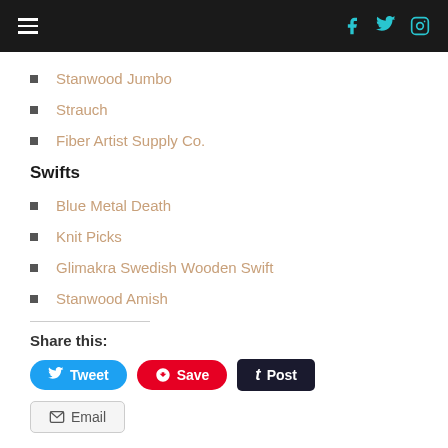Navigation header with hamburger menu and social icons (Facebook, Twitter, Instagram)
Stanwood Jumbo
Strauch
Fiber Artist Supply Co.
Swifts
Blue Metal Death
Knit Picks
Glimakra Swedish Wooden Swift
Stanwood Amish
Share this:
Tweet | Save | Post | Email